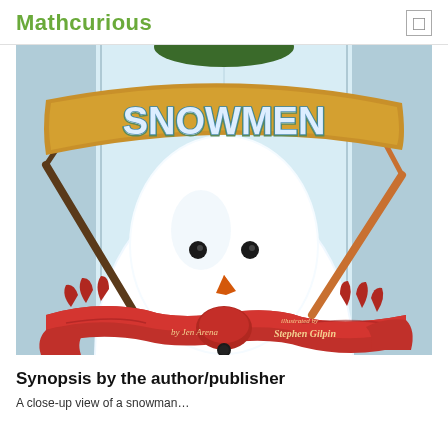Mathcurious
[Figure (illustration): Book cover of 'Snowmen' illustrated by Stephen Gilpin, by Jen Arena. Features a close-up of a snowman with a carrot nose, black button eyes, red scarf, and stick arms. Large banner reads 'SNOWMEN' in bold letters.]
Synopsis by the author/publisher
A close-up view of a snowman…